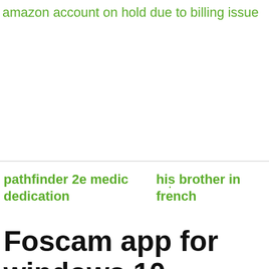amazon account on hold due to billing issue
pathfinder 2e medic dedication
his brother in french
Foscam app for windows 10
Download Foscam app for PC click here: https://mangaaz.net/foscam-app-for-pc-free-download/Download Nox App Player for PC click now: http://mangaaz.net/nox-a
mashed
potatoes